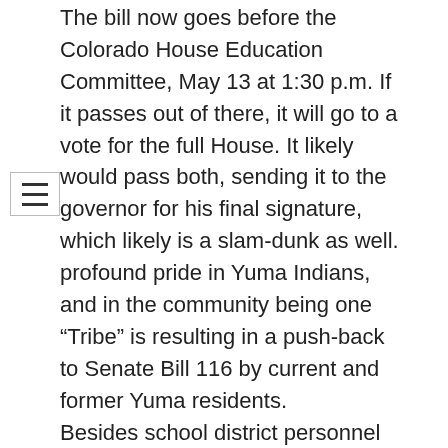The bill now goes before the Colorado House Education Committee, May 13 at 1:30 p.m. If it passes out of there, it will go to a vote for the full House. It likely would pass both, sending it to the governor for his final signature, which likely is a slam-dunk as well.
profound pride in Yuma Indians, and in the community being one “Tribe” is resulting in a push-back to Senate Bill 116 by current and former Yuma residents.
Besides school district personnel and media, only five community members attended Tuesday’s meeting, but more participated via phone, and judging by social media reaction, there is a groundswell of somehow trying to keep Yuma’s mascot — and identity. (And people just don’t like going to meetings, unless it involves their children or someone’s job.)
District leaders made it clear during the meeting that, realistically, it is likely the bill will become law, forcing